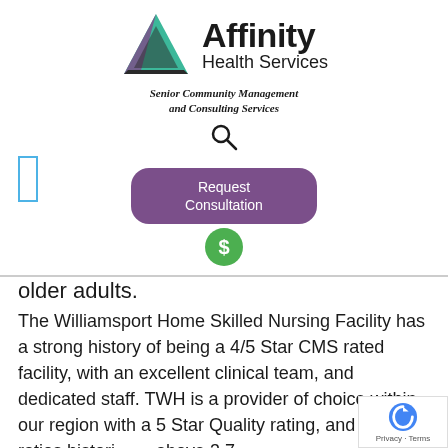[Figure (logo): Affinity Health Services logo with triangular geometric mark in teal, purple, and black, accompanied by the text 'Affinity Health Services' and tagline 'Senior Community Management and Consulting Services']
[Figure (other): Search magnifying glass icon]
[Figure (other): Purple rounded rectangle button reading 'Request Consultation']
[Figure (other): Green circle with white dollar sign icon]
older adults.
The Williamsport Home Skilled Nursing Facility has a strong history of being a 4/5 Star CMS rated facility, with an excellent clinical team, and dedicated staff. TWH is a provider of choice within our region with a 5 Star Quality rating, and staffing ratios historically above 3.7.
[Figure (other): Google reCAPTCHA badge with Privacy and Terms links]